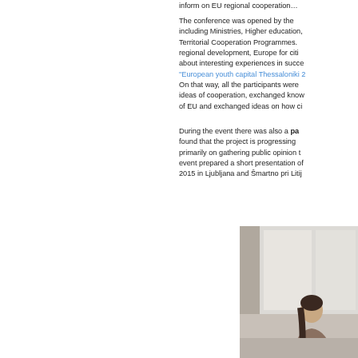inform on EU regional cooperation
The conference was opened by the including Ministries, Higher education, Territorial Cooperation Programmes. regional development, Europe for citi about interesting experiences in succe "European youth capital Thessaloniki 2 On that way, all the participants were ideas of cooperation, exchanged know of EU and exchanged ideas on how ci
During the event there was also a panel found that the project is progressing primarily on gathering public opinion t event prepared a short presentation o 2015 in Ljubljana and Šmartno pri Litij
[Figure (photo): Photo of a person at an indoor event, appears to be a conference or meeting setting with light-colored curtains or walls in the background]